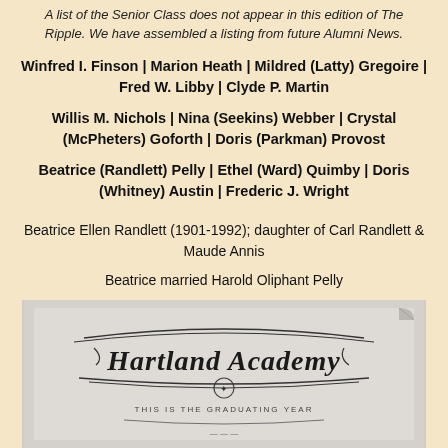A list of the Senior Class does not appear in this edition of The Ripple. We have assembled a listing from future Alumni News.
Winfred I. Finson | Marion Heath | Mildred (Latty) Gregoire | Fred W. Libby | Clyde P. Martin
Willis M. Nichols | Nina (Seekins) Webber | Crystal (McPheters) Goforth | Doris (Parkman) Provost
Beatrice (Randlett) Pelly | Ethel (Ward) Quimby | Doris (Whitney) Austin | Frederic J. Wright
Beatrice Ellen Randlett (1901-1992); daughter of Carl Randlett & Maude Annis
Beatrice married Harold Oliphant Pelly
[Figure (photo): Photograph of a Hartland Academy diploma or certificate document, showing decorative script text 'Hartland Academy' with ornate calligraphy and decorative flourishes, with additional smaller text below.]